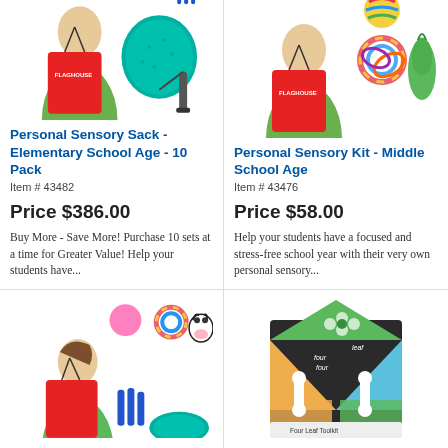[Figure (photo): Child wearing red Flaghouse drawstring bag next to a teal balance disc and pump]
Personal Sensory Sack - Elementary School Age - 10 Pack
Item # 43482
Price $386.00
Buy More - Save More!  Purchase 10 sets at a time for Greater Value! Help your students have...
[Figure (photo): Child wearing red Flaghouse drawstring bag with colorful sensory toys and green plush item]
Personal Sensory Kit - Middle School Age
Item # 43476
Price $58.00
Help your students have a focused and stress-free school year with their very own personal sensory...
[Figure (photo): Girl with red drawstring bag, colorful sensory fidget toys including pom pom, tangle, cow figure, balance disc]
[Figure (photo): Colorful box product with green, blue, yellow panels and white shapes, appears to be a game or activity kit]